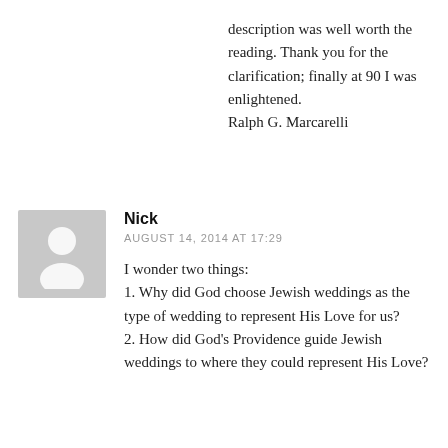description was well worth the reading. Thank you for the clarification; finally at 90 I was enlightened.
Ralph G. Marcarelli
Nick
AUGUST 14, 2014 AT 17:29
I wonder two things:
1. Why did God choose Jewish weddings as the type of wedding to represent His Love for us?
2. How did God's Providence guide Jewish weddings to where they could represent His Love?